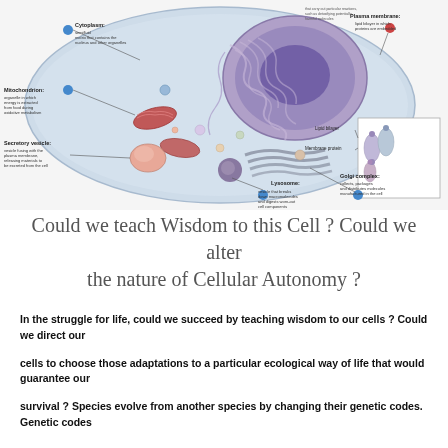[Figure (illustration): Detailed labeled diagram of an animal cell showing: Cytoplasm (semifluid matrix that contains the nucleus and other organelles), Mitochondrion (organelle in which energy is extracted from food during oxidative metabolism), Secretory vesicle (vesicle fusing with the plasma membrane, releasing materials to be excreted from the cell), Lysosome (vesicle that breaks down macromolecules and digests worn-out cell components), Golgi complex (collects, packages and distributes molecules manufactured in the cell), Plasma membrane (lipid bilayer in which proteins are embedded), Lipid bilayer, Membrane protein. The cell is shown in cross-section with a large purple nucleus, blue cytoplasm, and various colored organelles. An inset shows the plasma membrane structure in detail.]
Could we teach Wisdom to this Cell ? Could we alter the nature of Cellular Autonomy ?
In the struggle for life, could we succeed by teaching wisdom to our cells ? Could we direct our cells to choose those adaptations to a particular ecological way of life that would guarantee our survival ? Species evolve from another species by changing their genetic codes. Genetic codes